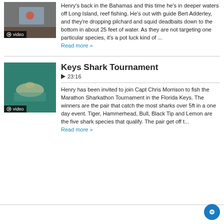[Figure (photo): Video thumbnail showing a person fishing, with a video badge overlay]
Henry's back in the Bahamas and this time he's in deeper waters off Long Island, reef fishing. He's out with guide Bert Adderley, and they're dropping pilchard and squid deadbaits down to the bottom in about 25 feet of water. As they are not targeting one particular species, it's a pot luck kind of ...
Read more »
[Figure (photo): Video thumbnail showing a shark swimming near the surface, with a video badge overlay]
Keys Shark Tournament
▶ 23:16
Henry has been invited to join Capt Chris Morrison to fish the Marathon Sharkathon Tournament in the Florida Keys. The winners are the pair that catch the most sharks over 5ft in a one day event. Tiger, Hammerhead, Bull, Black Tip and Lemon are the five shark species that qualify. The pair get off t...
Read more »